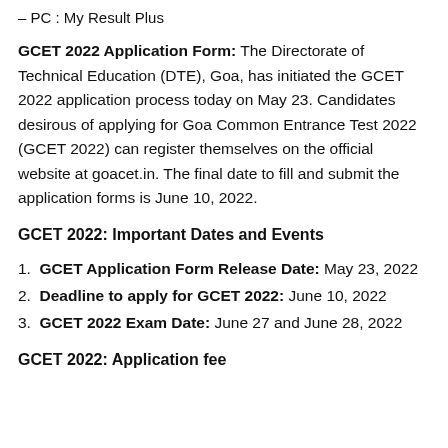– PC : My Result Plus
GCET 2022 Application Form: The Directorate of Technical Education (DTE), Goa, has initiated the GCET 2022 application process today on May 23. Candidates desirous of applying for Goa Common Entrance Test 2022 (GCET 2022) can register themselves on the official website at goacet.in. The final date to fill and submit the application forms is June 10, 2022.
GCET 2022: Important Dates and Events
GCET Application Form Release Date: May 23, 2022
Deadline to apply for GCET 2022: June 10, 2022
GCET 2022 Exam Date: June 27 and June 28, 2022
GCET 2022: Application fee